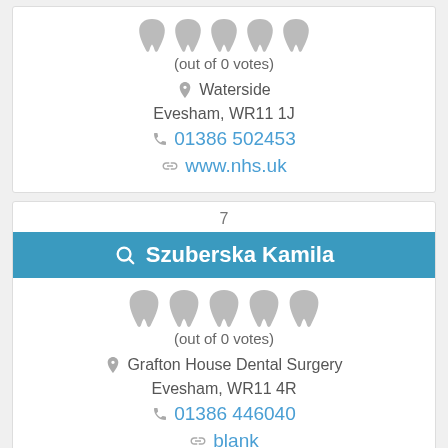[Figure (infographic): 5 grey tooth icons representing rating]
(out of 0 votes)
📍 Waterside
Evesham, WR11 1J
📞 01386 502453
🔗 www.nhs.uk
7
🔍 Szuberska Kamila
[Figure (infographic): 5 grey tooth icons representing rating]
(out of 0 votes)
📍 Grafton House Dental Surgery
Evesham, WR11 4R
📞 01386 446040
🔗 blank